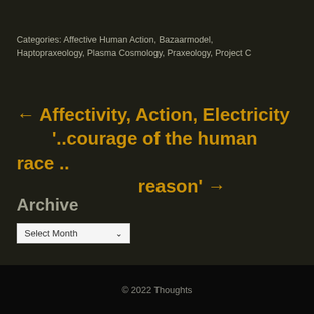Categories: Affective Human Action, Bazaarmodel, Haptopraxeology, Plasma Cosmology, Praxeology, Project C
← Affectivity, Action, Electricity '..courage of the human race .. reason' →
Archive
Select Month
© 2022 Thoughts